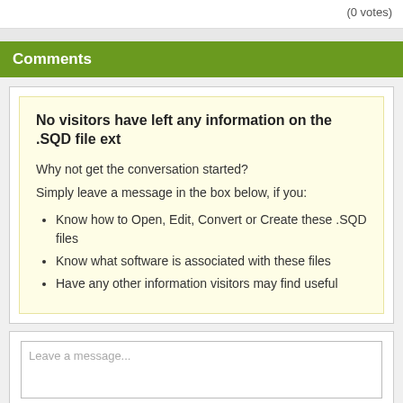(0 votes)
Comments
No visitors have left any information on the .SQD file ext
Why not get the conversation started?
Simply leave a message in the box below, if you:
Know how to Open, Edit, Convert or Create these .SQD files
Know what software is associated with these files
Have any other information visitors may find useful
Leave a message...
Name                              Email Address for replies...